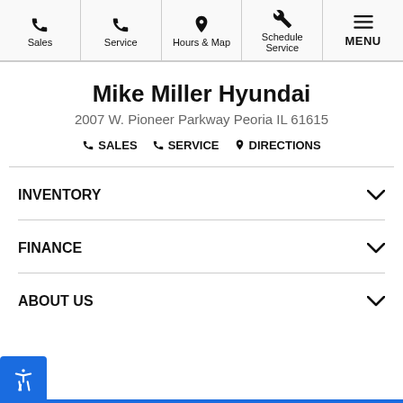Sales | Service | Hours & Map | Schedule Service | MENU
Mike Miller Hyundai
2007 W. Pioneer Parkway Peoria IL 61615
SALES  SERVICE  DIRECTIONS
INVENTORY
FINANCE
ABOUT US